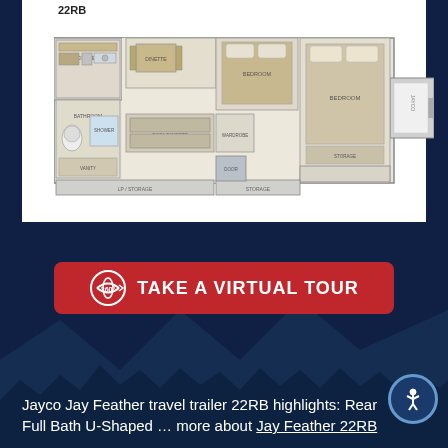22RB
[Figure (schematic): Floor plan of Jayco Jay Feather 22RB travel trailer showing overhead layout view with bedroom, bathroom, kitchen, living area, and slide-outs.]
[Figure (illustration): Red button with 360 degree virtual tour icon and text TAKE A VIRTUAL TOUR]
Jayco Jay Feather travel trailer 22RB highlights: Rear Full Bath U-Shaped ... more about Jay Feather 22RB